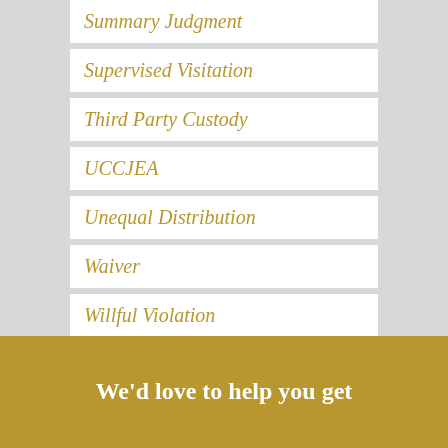Summary Judgment
Supervised Visitation
Third Party Custody
UCCJEA
Unequal Distribution
Waiver
Willful Violation
We’d love to help you get